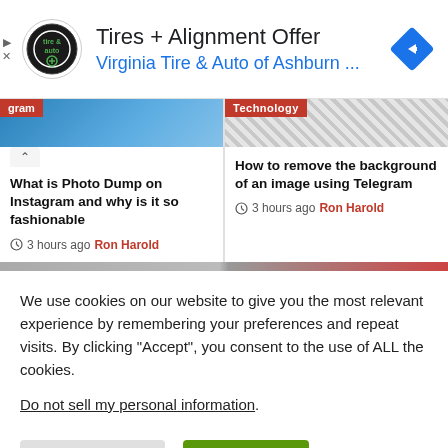[Figure (infographic): Advertisement banner: Tires + Alignment Offer, Virginia Tire & Auto of Ashburn ..., with circular logo and blue diamond arrow icon]
[Figure (screenshot): Two article cards: left card shows partial Instagram image with label 'gram' and article 'What is Photo Dump on Instagram and why is it so fashionable' by Ron Harold 3 hours ago; right card shows Technology label with checkered placeholder and article 'How to remove the background of an image using Telegram' by Ron Harold 3 hours ago]
We use cookies on our website to give you the most relevant experience by remembering your preferences and repeat visits. By clicking “Accept”, you consent to the use of ALL the cookies.
Do not sell my personal information.
Cookie Settings
Accept